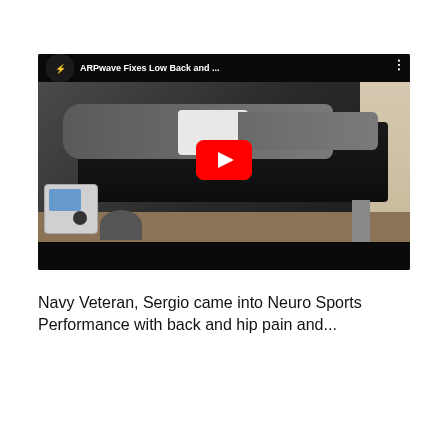[Figure (screenshot): YouTube video thumbnail showing a person lying face-down on a treatment table receiving ARPwave therapy. A medical device is visible on the left. The video title reads 'ARPwave Fixes Low Back and ...' with a YouTube play button overlay. A channel logo is visible in the top-left corner of the video player.]
Navy Veteran, Sergio came into Neuro Sports Performance with back and hip pain and...